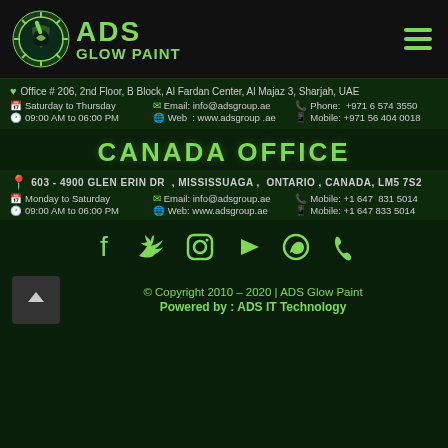[Figure (logo): ADS Glow Paint logo with gear/paint brush icon and green text]
Office # 206, 2nd Floor, B Block, Al Fardan Center, Al Majaz 3, Sharjah, UAE
Saturday to Thursday | Email: info@adsgroup.ae | Phone: +971 6 574 3550
09:00 AM to 06:00 PM | Web : www.adsgroup .ae | Mobile: +971 56 404 0018
CANADA OFFICE
603 - 4900 GLEN ERIN DR , MISSISSUAGA , ONTARIO , CANADA, LM5 7S2
Monday to Saturday | Email: info@adsgroup.ae | Mobile: +1 647 831 5014
09:00 AM to 06:00 PM | Web: www.adsgroup.ae | Mobile: +1 647 833 5014
[Figure (infographic): Social media icons row: Facebook, Twitter, Instagram, YouTube, WhatsApp, Phone]
© Copyright 2010 – 2020 | ADS Glow Paint
Powered by: ADS IT Technology